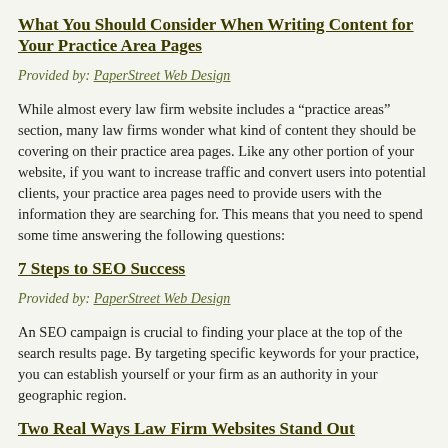What You Should Consider When Writing Content for Your Practice Area Pages
Provided by: PaperStreet Web Design
While almost every law firm website includes a “practice areas” section, many law firms wonder what kind of content they should be covering on their practice area pages. Like any other portion of your website, if you want to increase traffic and convert users into potential clients, your practice area pages need to provide users with the information they are searching for. This means that you need to spend some time answering the following questions:
7 Steps to SEO Success
Provided by: PaperStreet Web Design
An SEO campaign is crucial to finding your place at the top of the search results page. By targeting specific keywords for your practice, you can establish yourself or your firm as an authority in your geographic region.
Two Real Ways Law Firm Websites Stand Out
Provided by: PaperStreet Web Design